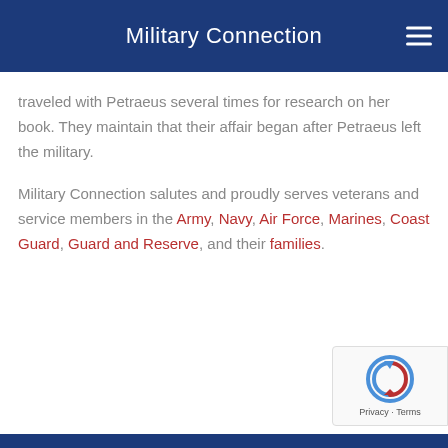Military Connection
traveled with Petraeus several times for research on her book. They maintain that their affair began after Petraeus left the military.
Military Connection salutes and proudly serves veterans and service members in the Army, Navy, Air Force, Marines, Coast Guard, Guard and Reserve, and their families.